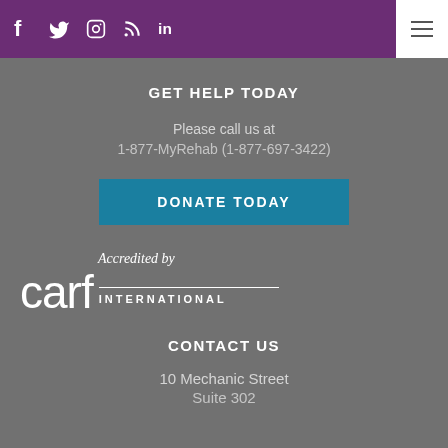f  twitter  instagram  rss  in  [menu]
GET HELP TODAY
Please call us at
1-877-MyRehab (1-877-697-3422)
DONATE TODAY
[Figure (logo): Accredited by CARF International logo with horizontal line]
CONTACT US
10 Mechanic Street
Suite 302